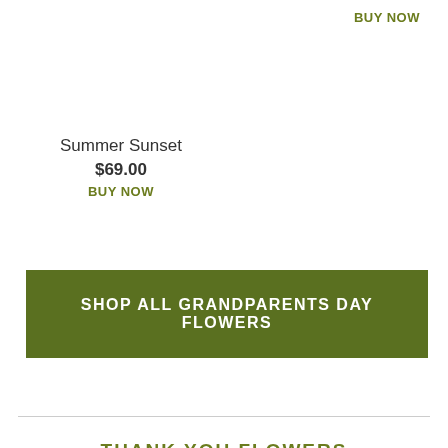BUY NOW
Summer Sunset
$69.00
BUY NOW
SHOP ALL GRANDPARENTS DAY FLOWERS
THANK YOU FLOWERS
Look no further than The Flower Shoppe of Providence for thank you gifts! We have all types of our thank you flowers to choose from, and...